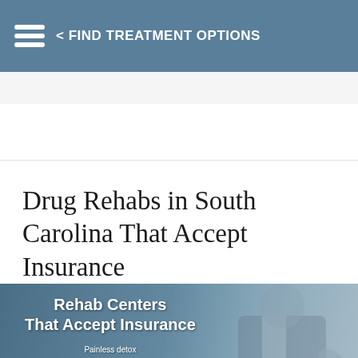< FIND TREATMENT OPTIONS
Drug Rehabs in South Carolina That Accept Insurance
[Figure (infographic): Advertisement banner for Rehab Centers That Accept Insurance. Text: 'Rehab Centers That Accept Insurance', bullet points: Painless detox, Dual Diagnosis Programs, Holistic and Non 12-step options, Long-term and Short-term treatment. Bottom text: TO VERIFY INSURANCE: CALL N... 1-866-391-6530. Dark overlay button: 24/7 CALL NOW with green headset circle button.]